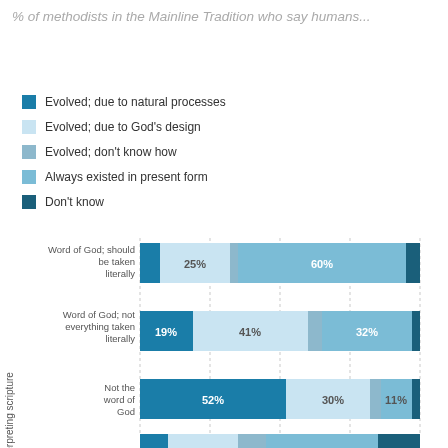% of methodists in the Mainline Tradition who say humans...
Evolved; due to natural processes
Evolved; due to God's design
Evolved; don't know how
Always existed in present form
Don't know
[Figure (stacked-bar-chart): % of methodists in the Mainline Tradition who say humans...]